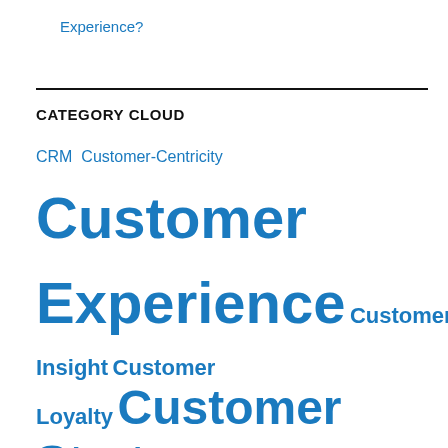Experience?
CATEGORY CLOUD
[Figure (infographic): Tag cloud/category cloud showing: CRM (small), Customer-Centricity (small), Customer (large), Experience (extra large), Customer (medium), Insight (medium), Customer Loyalty (medium), Customer Strategy (large), Hall of Fame (small), Hall of Shame (small)]